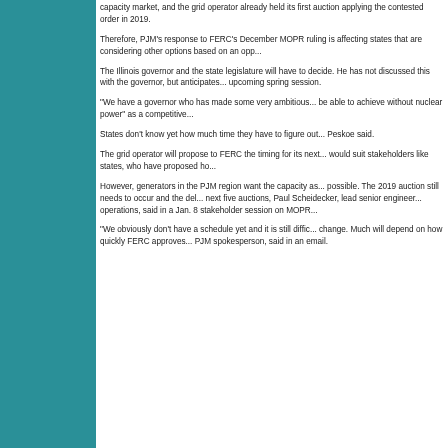capacity market, and the grid operator already held its first auction applying the contested order in 2019.
Therefore, PJM's response to FERC's December MOPR ruling is affecting states that are considering other options based on an opp...
The Illinois governor and the state legislature will have to decide. He has not discussed this with the governor, but anticipates... upcoming spring session.
“We have a governor who has made some very ambitious... be able to achieve without nuclear power” as a competitive...
States don’t know yet how much time they have to figure out... Peskoe said.
The grid operator will propose to FERC the timing for its ne... would suit stakeholders like states, who have proposed ho...
However, generators in the PJM region want the capacity a... possible. The 2019 auction still needs to occur and the del... next five auctions, Paul Scheidecker, lead senior engineer... operations, said in a Jan. 8 stakeholder session on MOPR...
“We obviously don’t have a schedule yet and it is still diffic... change. Much will depend on how quickly FERC approves... PJM spokesperson, said in an email.